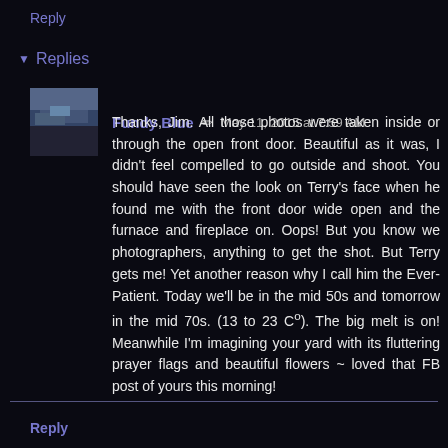Reply
Replies
[Figure (photo): Avatar thumbnail of Fundy Blue showing a wintry landscape scene]
Fundy Blue / May 11, 2015 at 7:59 AM
Thanks, Jim. All those photos were taken inside or through the open front door. Beautiful as it was, I didn't feel compelled to go outside and shoot. You should have seen the look on Terry's face when he found me with the front door wide open and the furnace and fireplace on. Oops! But you know we photographers, anything to get the shot. But Terry gets me! Yet another reason why I call him the Ever-Patient. Today we'll be in the mid 50s and tomorrow in the mid 70s. (13 to 23 C°). The big melt is on! Meanwhile I'm imagining your yard with its fluttering prayer flags and beautiful flowers ~ loved that FB post of yours this morning!
Reply